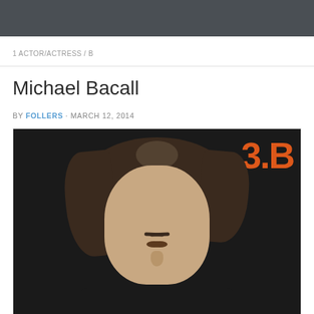1 ACTOR/ACTRESS / B
Michael Bacall
BY FOLLERS · MARCH 12, 2014
[Figure (photo): Close-up photo of Michael Bacall, a man with medium-length wavy dark brown hair with slight highlights, at what appears to be a movie premiere or press event. In the upper right background is orange text reading '3.B' against a dark/black background.]